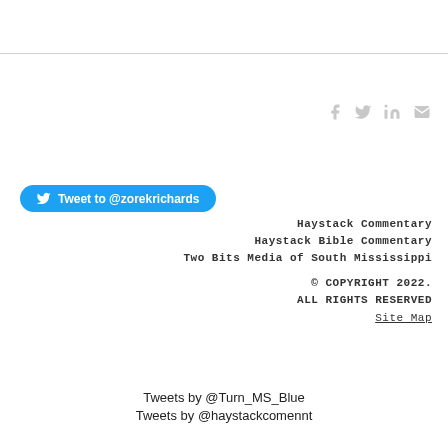[Figure (other): Social media sharing icons: Facebook (f), Twitter (bird), LinkedIn (in), Email (envelope) — light gray]
Tweet to @zorekrichards
Haystack Commentary
Haystack Bible Commentary
Two Bits Media of South Mississippi
© COPYRIGHT 2022.
ALL RIGHTS RESERVED
Site Map
Tweets by @Turn_MS_Blue
Tweets by @haystackcomennt